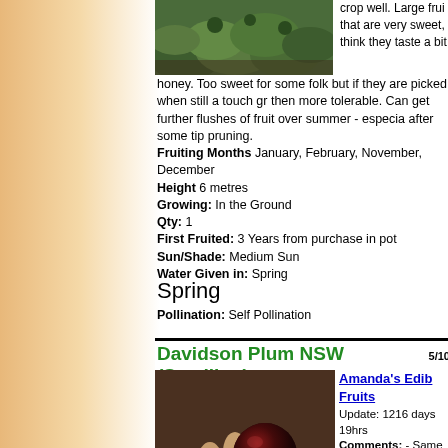[Figure (photo): Photo of green plant/fruit at top of page]
crop well. Large fruit that are very sweet, think they taste a bit honey. Too sweet for some folk but if they are picked when still a touch gr then more tolerable. Can get further flushes of fruit over summer - especia after some tip pruning.
Fruiting Months January, February, November, December
Height 6 metres
Growing: In the Ground
Qty: 1
First Fruited: 3 Years from purchase in pot
Sun/Shade: Medium Sun
Water Given in: Spring
Spring
Pollination: Self Pollination
Davidson Plum NSW (Seedling) 5/10
[Figure (photo): Hand holding three large dark purple Davidson Plums]
Amanda's Edib Fruits
Update: 1216 days 19hrs
Comments: - Same for the QLD species. Incredibly sour fruit. Starts fruiting young than the QLD specie and the plant is smal not quite as handsom imho.